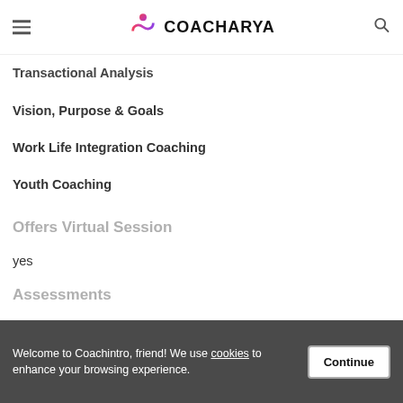COACHARYA
Transactional Analysis
Vision, Purpose & Goals
Work Life Integration Coaching
Youth Coaching
Offers Virtual Session
yes
Assessments
DiSC Personality Profile
Emotional Quotient Inventory (EQi)
Welcome to Coachintro, friend! We use cookies to enhance your browsing experience.